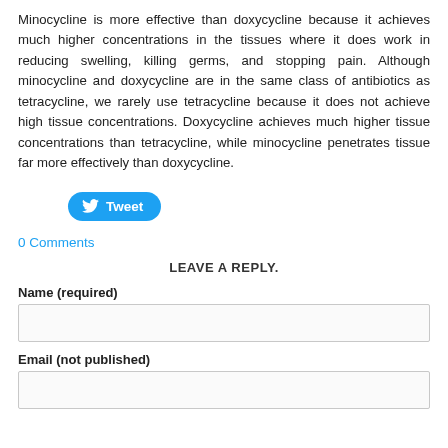Minocycline is more effective than doxycycline because it achieves much higher concentrations in the tissues where it does work in reducing swelling, killing germs, and stopping pain. Although minocycline and doxycycline are in the same class of antibiotics as tetracycline, we rarely use tetracycline because it does not achieve high tissue concentrations. Doxycycline achieves much higher tissue concentrations than tetracycline, while minocycline penetrates tissue far more effectively than doxycycline.
[Figure (other): Twitter Tweet button (blue rounded pill button with bird icon and text 'Tweet')]
0 Comments
LEAVE A REPLY.
Name (required)
Email (not published)